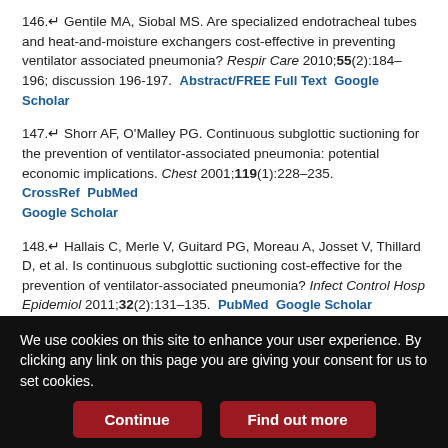146. Gentile MA, Siobal MS. Are specialized endotracheal tubes and heat-and-moisture exchangers cost-effective in preventing ventilator associated pneumonia? Respir Care 2010;55(2):184–196; discussion 196-197. Abstract/FREE Full Text  Google Scholar
147. Shorr AF, O'Malley PG. Continuous subglottic suctioning for the prevention of ventilator-associated pneumonia: potential economic implications. Chest 2001;119(1):228–235. CrossRef  PubMed  Google Scholar
148. Hallais C, Merle V, Guitard PG, Moreau A, Josset V, Thillard D, et al. Is continuous subglottic suctioning cost-effective for the prevention of ventilator-associated pneumonia? Infect Control Hosp Epidemiol 2011;32(2):131–135. PubMed  Google Scholar
149. Wyncoll D, Camporota L. Number needed to treat and cost-
We use cookies on this site to enhance your user experience. By clicking any link on this page you are giving your consent for us to set cookies.